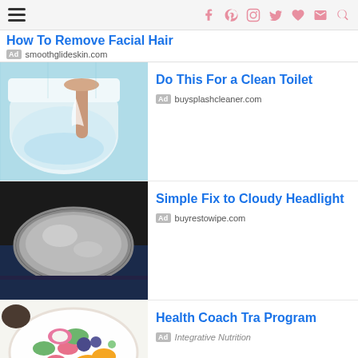How To Remove Facial Hair — social icons navigation bar
How To Remove Facial Hair
Ad smoothglideskin.com
[Figure (photo): Hand pouring white powder into a toilet bowl]
Do This For a Clean Toilet
Ad buysplashcleaner.com
[Figure (photo): Close-up of a cloudy car headlight]
Simple Fix to Cloudy Headlight
Ad buyrestowipe.com
[Figure (photo): Colorful healthy food plate with fruits and vegetables]
Health Coach Tra Program
Ad Integrative Nutrition